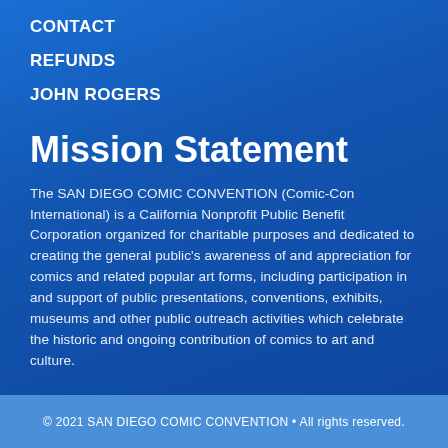CONTACT
REFUNDS
JOHN ROGERS
Mission Statement
The SAN DIEGO COMIC CONVENTION (Comic-Con International) is a California Nonprofit Public Benefit Corporation organized for charitable purposes and dedicated to creating the general public's awareness of and appreciation for comics and related popular art forms, including participation in and support of public presentations, conventions, exhibits, museums and other public outreach activities which celebrate the historic and ongoing contribution of comics to art and culture.
© 2021 SAN DIEGO COMIC CONVENTION • All rights reserved.